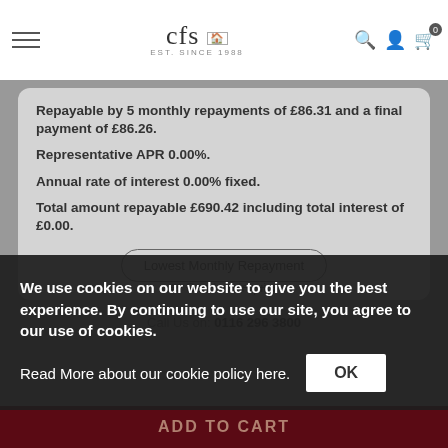cfs EST. SINCE 1988
Repayable by 5 monthly repayments of £86.31 and a final payment of £86.26. Representative APR 0.00%. Annual rate of interest 0.00% fixed. Total amount repayable £690.42 including total interest of £0.00.
Lowest Monthly Repayment
✉ Send an Inquiry
Call Us on: 0116 296 3800
ADD TO CART
We use cookies on our website to give you the best experience. By continuing to use our site, you agree to our use of cookies.
Read More about our cookie policy here.
OK